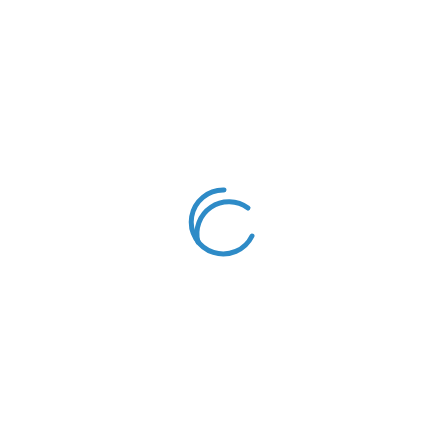[Figure (other): A circular loading spinner icon rendered in blue, showing two arc segments forming a nearly complete circle with gaps at the top-right and bottom-left, indicating a loading or processing state.]